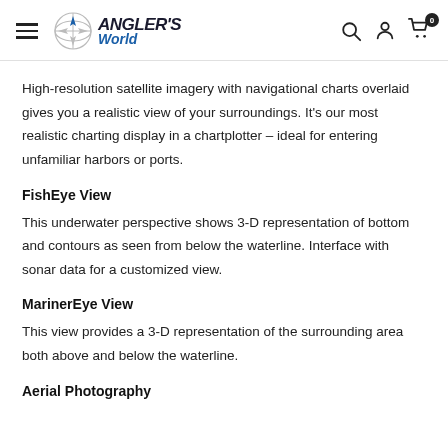ANGLER'S World
High-resolution satellite imagery with navigational charts overlaid gives you a realistic view of your surroundings. It's our most realistic charting display in a chartplotter – ideal for entering unfamiliar harbors or ports.
FishEye View
This underwater perspective shows 3-D representation of bottom and contours as seen from below the waterline. Interface with sonar data for a customized view.
MarinerEye View
This view provides a 3-D representation of the surrounding area both above and below the waterline.
Aerial Photography